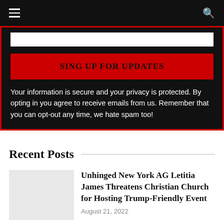SING UP FOR UPDATES
Your information is secure and your privacy is protected. By opting in you agree to receive emails from us. Remember that you can opt-out any time, we hate spam too!
Recent Posts
Unhinged New York AG Letitia James Threatens Christian Church for Hosting Trump-Friendly Event
August 21, 2022